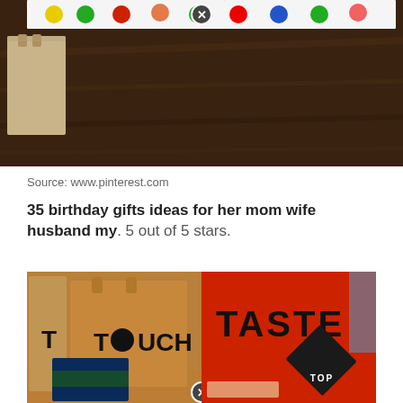[Figure (photo): Photo showing a Twister game board with colorful dots on white, partially unrolled on a dark wood table, with a brown paper bag visible on the left. A close/dismiss button (X in circle) is visible at the top center.]
Source: www.pinterest.com
35 birthday gifts ideas for her mom wife husband my. 5 out of 5 stars.
[Figure (photo): Two-panel photo: Left shows brown paper bags labeled 'TOUCH' with a circular O on a wood floor; Right shows a red bag labeled 'TASTE' with a black diamond TOP badge in the corner. A close/dismiss button (X in circle) is visible at the bottom center of the left panel.]